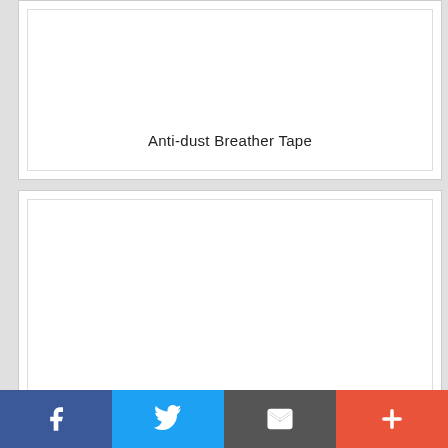[Figure (other): Product card for Anti-dust Breather Tape — white card with border, product image area (blank/white), and centered text label]
Anti-dust Breather Tape
[Figure (other): Product card for Aluminium Eaves Filler — white card with border, product image area (blank/white), and centered text label]
Aluminium Eaves Filler
[Figure (other): Social sharing bar at bottom with Facebook, Twitter, Email, and plus buttons]